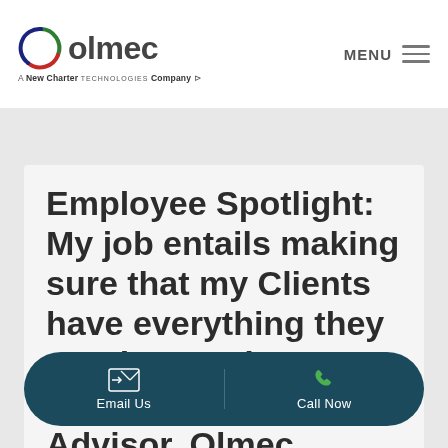olmec — A New Charter Technologies Company — MENU
Employee Spotlight: My job entails making sure that my Clients have everything they require, Fred Howland, Client Advisor, Olmec.
Sharon Arena
May 16, 2022
Email Us  |  Call Now